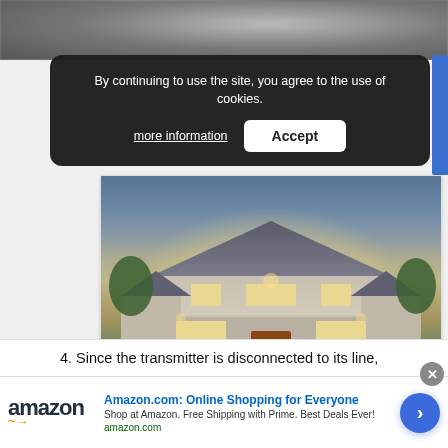[Figure (photo): Blurred photo strip at top of page, partial view of an object in dark tones]
By continuing to use the site, you agree to the use of cookies.
more information   Accept
[Figure (photo): Large house photo — beautifully lit craftsman-style home at dusk with warm interior lighting]
Stand The Test of Time
Give your home a beautiful look that will last with Hardie® exterior solutions.
REQUEST A QUOTE
Ad
4. Since the transmitter is disconnected to its line,
Amazon.com: Online Shopping for Everyone
Shop at Amazon. Free Shipping with Prime. Best Deals Ever!
amazon.com